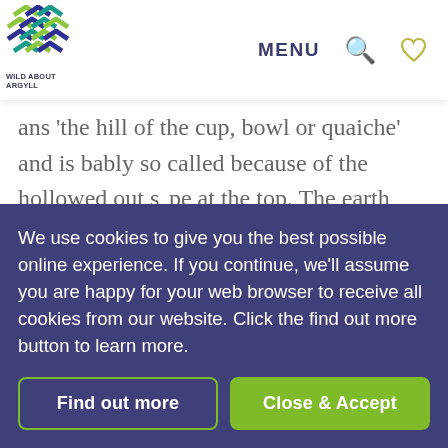MENU
[Figure (logo): Wild About Argyll logo with colorful zigzag/chevron pattern in green and blue tones, with text 'WILD ABOUT ARGYLL' below]
ans 'the hill of the cup, bowl or quaiche' and is bably so called because of the hollowed out s. pe at the top. The earth works that give this appearance may be due to excavation at the time the tower was built or to much earlier Iron Age activity.
We use cookies to give you the best possible online experience. If you continue, we'll assume you are happy for your web browser to receive all cookies from our website. Click the find out more button to learn more.
Find out more
Close & Accept